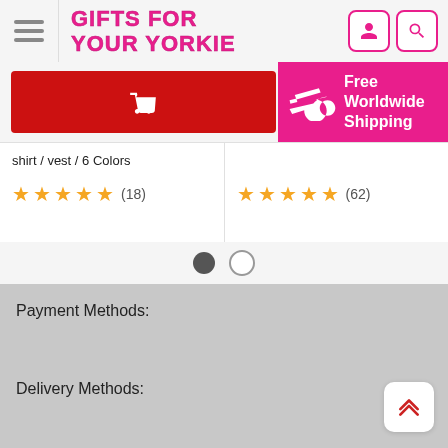[Figure (screenshot): Website header with hamburger menu, 'Gifts For Your Yorkie' logo in pink, and user/search icons]
[Figure (screenshot): Red shopping cart button and pink free worldwide shipping banner with airplane icon]
shirt / vest / 6 Colors
★★★★★ (18)
★★★★★ (62)
[Figure (other): Carousel pagination dots - one filled, one empty]
Payment Methods:
Delivery Methods: